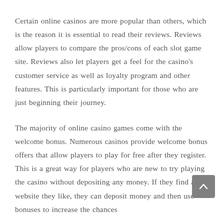Certain online casinos are more popular than others, which is the reason it is essential to read their reviews. Reviews allow players to compare the pros/cons of each slot game site. Reviews also let players get a feel for the casino's customer service as well as loyalty program and other features. This is particularly important for those who are just beginning their journey.
The majority of online casino games come with the welcome bonus. Numerous casinos provide welcome bonus offers that allow players to play for free after they register. This is a great way for players who are new to try playing the casino without depositing any money. If they find a website they like, they can deposit money and then use bonuses to increase the chances